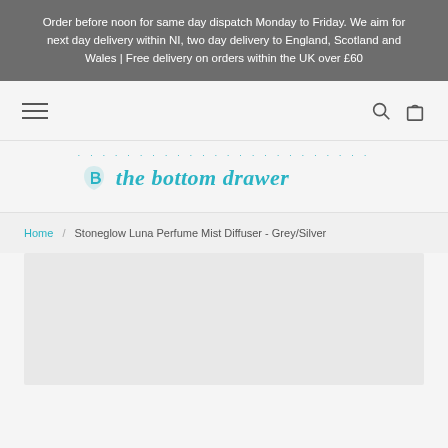Order before noon for same day dispatch Monday to Friday. We aim for next day delivery within NI, two day delivery to England, Scotland and Wales | Free delivery on orders within the UK over £60
[Figure (logo): The Bottom Drawer logo with decorative dots and italic teal text]
Home / Stoneglow Luna Perfume Mist Diffuser - Grey/Silver
[Figure (photo): Light grey product image placeholder area]